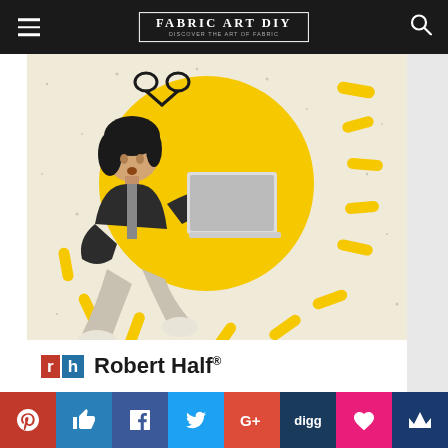FABRIC ART DIY
[Figure (photo): Advertisement image showing a woman in business casual floating/jumping while holding a laptop, with a large yellow circle behind her and yellow dash accents on a cream speckled background. Robert Half logo at the bottom of the image.]
[Figure (logo): Robert Half logo with red 'r' and blue 'h' squares followed by 'Robert Half®' text]